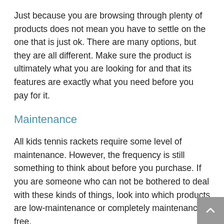Just because you are browsing through plenty of products does not mean you have to settle on the one that is just ok. There are many options, but they are all different. Make sure the product is ultimately what you are looking for and that its features are exactly what you need before you pay for it.
Maintenance
All kids tennis rackets require some level of maintenance. However, the frequency is still something to think about before you purchase. If you are someone who can not be bothered to deal with these kinds of things, look into which products are low-maintenance or completely maintenance-free.